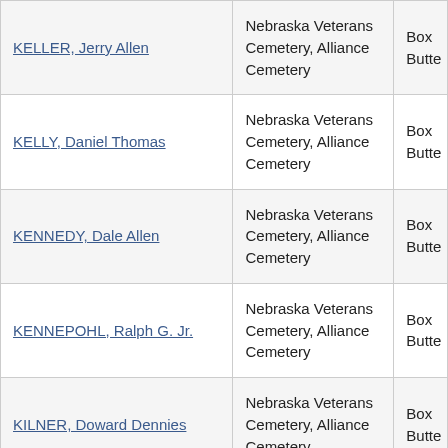| KELLER, Jerry Allen | Nebraska Veterans Cemetery, Alliance Cemetery | Box Butte |
| KELLY, Daniel Thomas | Nebraska Veterans Cemetery, Alliance Cemetery | Box Butte |
| KENNEDY, Dale Allen | Nebraska Veterans Cemetery, Alliance Cemetery | Box Butte |
| KENNEPOHL, Ralph G. Jr. | Nebraska Veterans Cemetery, Alliance Cemetery | Box Butte |
| KILNER, Doward Dennies | Nebraska Veterans Cemetery, Alliance Cemetery | Box Butte |
| KING, Bettie Elizabeth Susan | Nebraska Veterans Cemetery, Alliance Cemetery | Box Butte |
|  | Nebraska Veterans |  |